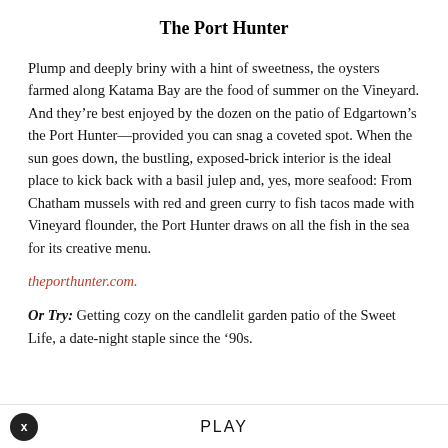The Port Hunter
Plump and deeply briny with a hint of sweetness, the oysters farmed along Katama Bay are the food of summer on the Vineyard. And they’re best enjoyed by the dozen on the patio of Edgartown’s the Port Hunter—provided you can snag a coveted spot. When the sun goes down, the bustling, exposed-brick interior is the ideal place to kick back with a basil julep and, yes, more seafood: From Chatham mussels with red and green curry to fish tacos made with Vineyard flounder, the Port Hunter draws on all the fish in the sea for its creative menu.
theporthunter.com.
Or Try: Getting cozy on the candlelit garden patio of the Sweet Life, a date-night staple since the ’90s.
PLAY